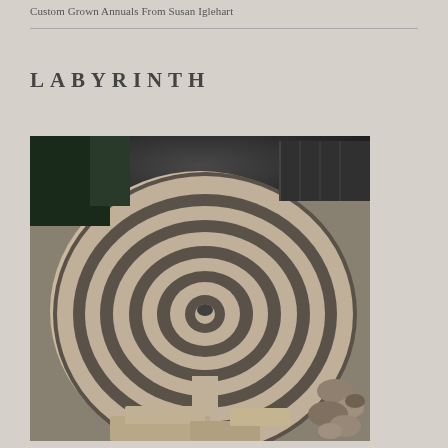Custom Grown Annuals From Susan Iglehart
LABYRINTH
[Figure (photo): Aerial-ish view of a stone labyrinth garden feature, with concentric curved paths made of flat stone pavers separated by dark gravel, with a rock at the center. Stone steps lead up to the labyrinth from the foreground, and a rock garden border is visible on the right side.]
Photo by Claire Jones Landscapes. See more eclectic landscape designs